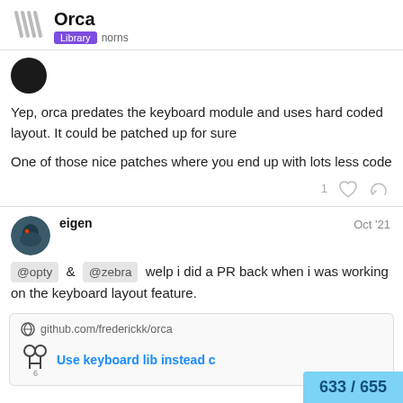Orca — Library norns
Yep, orca predates the keyboard module and uses hard coded layout. It could be patched up for sure
One of those nice patches where you end up with lots less code
eigen Oct '21
@opty & @zebra welp i did a PR back when i was working on the keyboard layout feature.
github.com/frederickk/orca
Use keyboard lib instead c
633 / 655